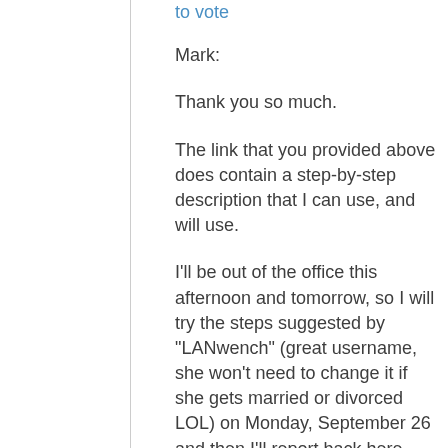to vote
Mark:
Thank you so much.
The link that you provided above does contain a step-by-step description that I can use, and will use.
I'll be out of the office this afternoon and tomorrow, so I will try the steps suggested by "LANwench" (great username, she won't need to change it if she gets married or divorced LOL) on Monday, September 26 and then I'll report back here with confirmation that it worked, description of any troubles or tweaks, etc.